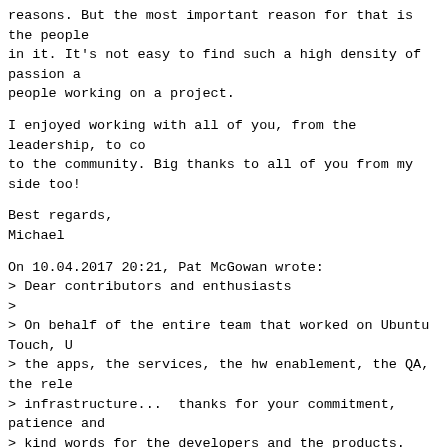reasons. But the most important reason for that is the people in it. It's not easy to find such a high density of passion a people working on a project.
I enjoyed working with all of you, from the leadership, to co to the community. Big thanks to all of you from my side too!
Best regards,
Michael
On 10.04.2017 20:21, Pat McGowan wrote:
> Dear contributors and enthusiasts
>
> On behalf of the entire team that worked on Ubuntu Touch, U
> the apps, the services, the hw enablement, the QA, the rele
> infrastructure...  thanks for your commitment, patience and
> kind words for the developers and the products.
>
> Working on this great software was a very rewarding experie
> so by your involvement.
> I share the hope that it lives on.
>
> So long for now
> Pat
>
> PS As far as I know this list will remain open.